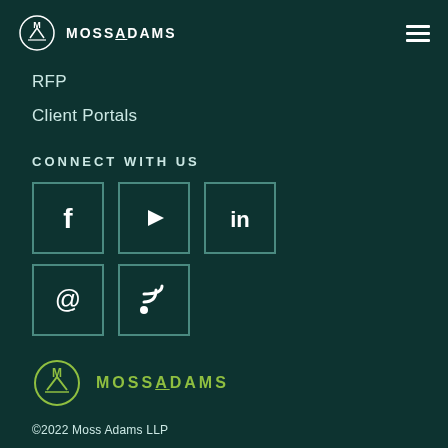MOSSADAMS
RFP
Client Portals
CONNECT WITH US
[Figure (infographic): Social media icons in bordered squares: Facebook (f), YouTube (play button), LinkedIn (in), Email (@), RSS feed]
[Figure (logo): Moss Adams logo with green circle and MOSSADAMS text in green]
©2022 Moss Adams LLP